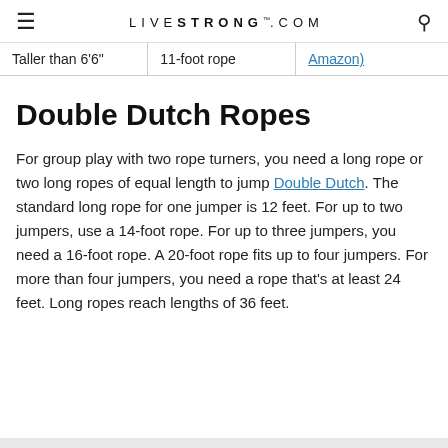LIVESTRONG.COM
| Taller than 6'6" | 11-foot rope | Amazon) |
Double Dutch Ropes
For group play with two rope turners, you need a long rope or two long ropes of equal length to jump Double Dutch. The standard long rope for one jumper is 12 feet. For up to two jumpers, use a 14-foot rope. For up to three jumpers, you need a 16-foot rope. A 20-foot rope fits up to four jumpers. For more than four jumpers, you need a rope that's at least 24 feet. Long ropes reach lengths of 36 feet.